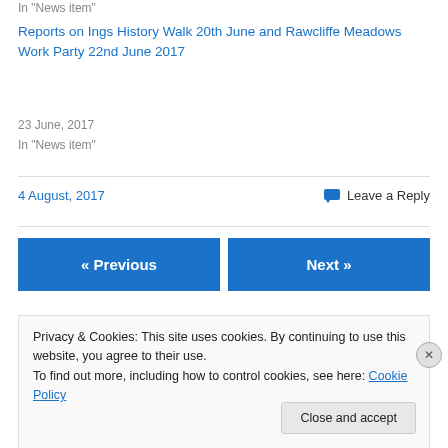In "News item"
Reports on Ings History Walk 20th June and Rawcliffe Meadows Work Party 22nd June 2017
23 June, 2017
In "News item"
4 August, 2017
Leave a Reply
« Previous
Next »
Privacy & Cookies: This site uses cookies. By continuing to use this website, you agree to their use.
To find out more, including how to control cookies, see here: Cookie Policy
Close and accept